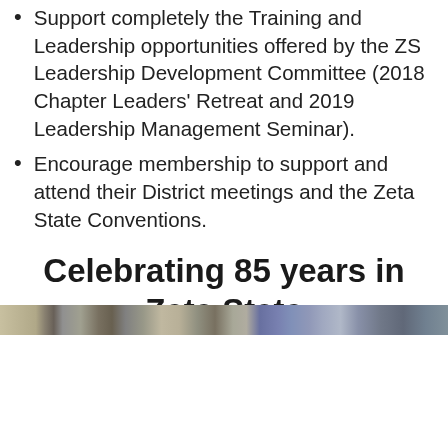Support completely the Training and Leadership opportunities offered by the ZS Leadership Development Committee (2018 Chapter Leaders' Retreat and 2019 Leadership Management Seminar).
Encourage membership to support and attend their District meetings and the Zeta State Conventions.
Celebrating 85 years in Zeta State
[Figure (photo): A horizontal strip showing a blurred/partial photo, appears to be a group or event photo related to Zeta State celebrations.]